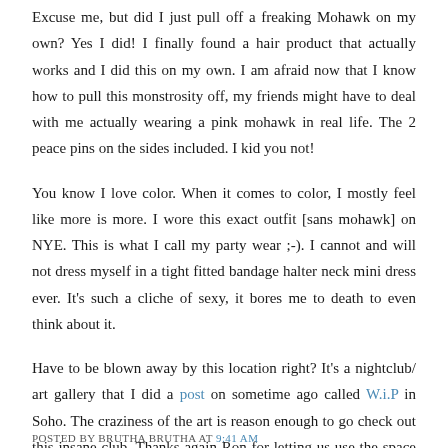Excuse me, but did I just pull off a freaking Mohawk on my own? Yes I did! I finally found a hair product that actually works and I did this on my own. I am afraid now that I know how to pull this monstrosity off, my friends might have to deal with me actually wearing a pink mohawk in real life. The 2 peace pins on the sides included. I kid you not!
You know I love color. When it comes to color, I mostly feel like more is more. I wore this exact outfit [sans mohawk] on NYE. This is what I call my party wear ;-). I cannot and will not dress myself in a tight fitted bandage halter neck mini dress ever. It's such a cliche of sexy, it bores me to death to even think about it.
Have to be blown away by this location right? It's a nightclub/ art gallery that I did a post on sometime ago called W.i.P in Soho. The craziness of the art is reason enough to go check out this insane club. Thanks again Ron for letting us use the space to create our own art.
POSTED BY BRUTHA BRUTHA AT 9:41 AM